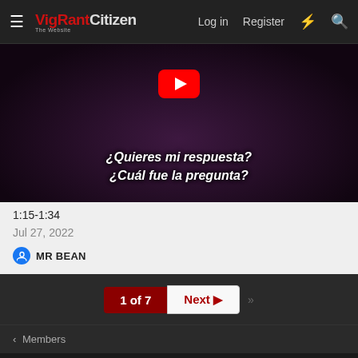VigRant Citizen | Log in | Register
[Figure (screenshot): YouTube video thumbnail showing dark purple background with text in Spanish: '¿Quieres mi respuesta? ¿Cuál fue la pregunta?' with a YouTube play button overlay]
1:15-1:34
Jul 27, 2022
MR BEAN
1 of 7  Next
< Members
Contact us  Terms and rules  Privacy policy  Help  Home
Forum software by XenForo® © 2010-2019 XenForo Ltd.